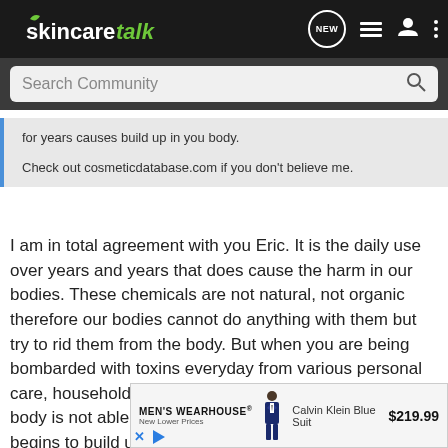skincaretalk — Search Community
for years causes build up in you body.

Check out cosmeticdatabase.com if you don't believe me.
I am in total agreement with you Eric. It is the daily use over years and years that does cause the harm in our bodies. These chemicals are not natural, not organic therefore our bodies cannot do anything with them but try to rid them from the body. But when you are being bombarded with toxins everyday from various personal care, household products, and processed foods, the body is not able to eliminate that much toxins so it begins to build up in our organs and tissues causing degenerative diseases such as cancer, alzheimers, parkinsons, auto imm
[Figure (screenshot): Men's Wearhouse advertisement showing Calvin Klein Blue Suit for $219.99]